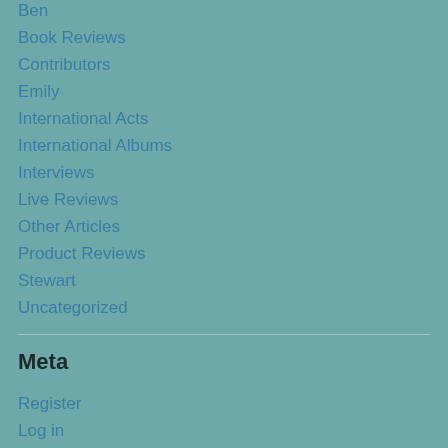Ben
Book Reviews
Contributors
Emily
International Acts
International Albums
Interviews
Live Reviews
Other Articles
Product Reviews
Stewart
Uncategorized
Meta
Register
Log in
Entries feed
Comments feed